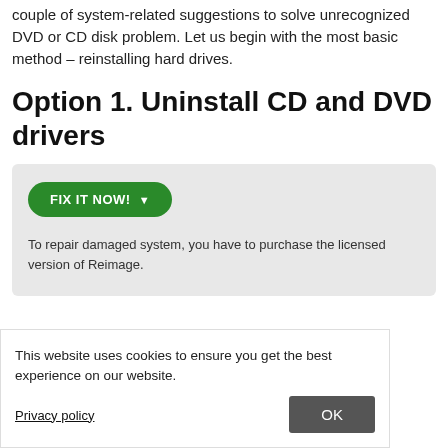couple of system-related suggestions to solve unrecognized DVD or CD disk problem. Let us begin with the most basic method – reinstalling hard drives.
Option 1. Uninstall CD and DVD drivers
[Figure (screenshot): A light grey box containing a green 'FIX IT NOW!' button with a dropdown arrow, and text below reading 'To repair damaged system, you have to purchase the licensed version of Reimage.']
This website uses cookies to ensure you get the best experience on our website.
Privacy policy
OK